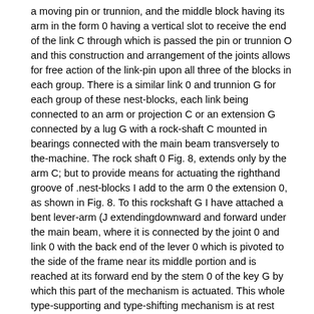a moving pin or trunnion, and the middle block having its arm in the form 0 having a vertical slot to receive the end of the link C through which is passed the pin or trunnion O and this construction and arrangement of the joints allows for free action of the link-pin upon all three of the blocks in each group. There is a similar link 0 and trunnion G for each group of these nest-blocks, each link being connected to an arm or projection C or an extension G connected by a lug G with a rock-shaft C mounted in bearings connected with the main beam transversely to the-machine. The rock shaft 0 Fig. 8, extends only by the arm C; but to provide means for actuating the righthand groove of .nest-blocks I add to the arm 0 the extension 0, as shown in Fig. 8. To this rockshaft G I have attached a bent lever-arm (J extendingdownward and forward under the main beam, where it is connected by the joint 0 and link 0 with the back end of the lever 0 which is pivoted to the side of the frame near its middle portion and is reached at its forward end by the stem 0 of the key G by which this part of the mechanism is actuated. This whole type-supporting and type-shifting mechanism is at rest when, as shown in Fig. 9, the outer or first type on a bar is actuated by depressing the fingei key B and bringing the